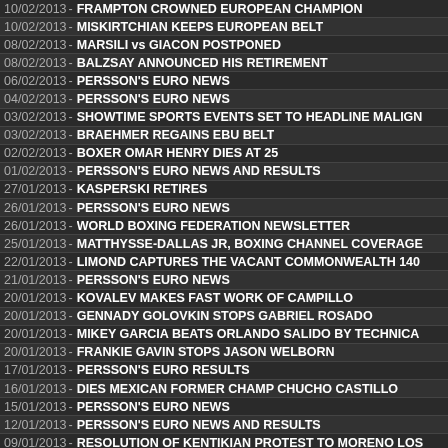10/02/2013 - FRAMPTON CROWNED EUROPEAN CHAMPION
10/02/2013 - MISKIRTCHIAN KEEPS EUROPEAN BELT
08/02/2013 - MARSILI vs GIACON POSTPONED
08/02/2013 - BALZSAY ANNOUNCED HIS RETIREMENT
06/02/2013 - PERSSON'S EURO NEWS
04/02/2013 - PERSSON'S EURO NEWS
03/02/2013 - SHOWTIME SPORTS EVENTS SET TO HEADLINE MALIGN
03/02/2013 - BRAEHMER REGAINS EBU BELT
02/02/2013 - BOXER OMAR HENRY DIES AT 25
01/02/2013 - PERSSON'S EURO NEWS AND RESULTS
27/01/2013 - KASPERSKI RETIRES
26/01/2013 - PERSSON'S EURO NEWS
26/01/2013 - WORLD BOXING FEDERATION NEWSLETTER
25/01/2013 - MATTHYSSE-DALLAS JR, BOXING CHANNEL COVERAGE
22/01/2013 - LIMOND CAPTURES THE VACANT COMMONWEALTH 140
21/01/2013 - PERSSON'S EURO NEWS
20/01/2013 - KOVALEV MAKES FAST WORK OF CAMPILLO
20/01/2013 - GENNADY GOLOVKIN STOPS GABRIEL ROSADO
20/01/2013 - MIKEY GARCIA BEATS ORLANDO SALIDO BY TECHNICA
20/01/2013 - FRANKIE GAVIN STOPS JASON WELBORN
17/01/2013 - PERSSON'S EURO RESULTS
16/01/2013 - DIES MEXICAN FORMER CHAMP CHUCHO CASTILLO
15/01/2013 - PERSSON'S EURO NEWS
12/01/2013 - PERSSON'S EURO NEWS AND RESULTS
09/01/2013 - RESOLUTION OF KENTIKIAN PROTEST TO MORENO LOS
05/01/2013 - RANCES BARTHELEMY BEATS ARASH USMANEE